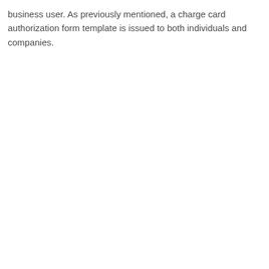business user. As previously mentioned, a charge card authorization form template is issued to both individuals and companies.